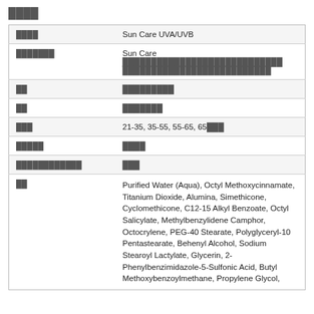████
| ████ | Sun Care UVA/UVB |
| ███████ | Sun Care ████████████████████████████ ██████████████████████████ |
| ██ | █████████ |
| ██ | ███████ |
| ███ | 21-35, 35-55, 55-65, 65███ |
| █████ | ████ |
| ████████████ | ███ |
| ██ | Purified Water (Aqua), Octyl Methoxycinnamate, Titanium Dioxide, Alumina, Simethicone, Cyclomethicone, C12-15 Alkyl Benzoate, Octyl Salicylate, Methylbenzylidene Camphor, Octocrylene, PEG-40 Stearate, Polyglyceryl-10 Pentastearate, Behenyl Alcohol, Sodium Stearoyl Lactylate, Glycerin, 2-Phenylbenzimidazole-5-Sulfonic Acid, Butyl Methoxybenzoylmethane, Propylene Glycol, |